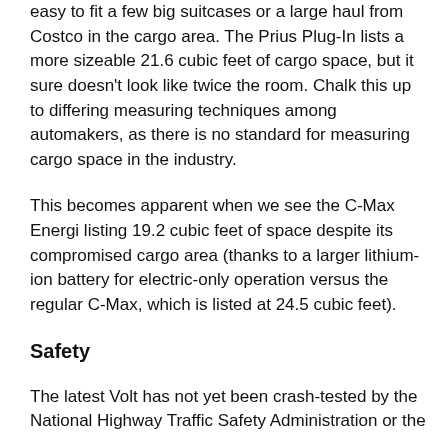easy to fit a few big suitcases or a large haul from Costco in the cargo area. The Prius Plug-In lists a more sizeable 21.6 cubic feet of cargo space, but it sure doesn't look like twice the room. Chalk this up to differing measuring techniques among automakers, as there is no standard for measuring cargo space in the industry.
This becomes apparent when we see the C-Max Energi listing 19.2 cubic feet of space despite its compromised cargo area (thanks to a larger lithium-ion battery for electric-only operation versus the regular C-Max, which is listed at 24.5 cubic feet).
Safety
The latest Volt has not yet been crash-tested by the National Highway Traffic Safety Administration or the